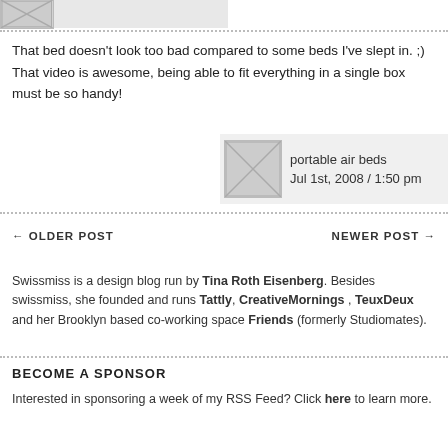[Figure (other): Avatar placeholder image (broken image icon) with gray background, partially visible at top]
That bed doesn't look too bad compared to some beds I've slept in. ;) That video is awesome, being able to fit everything in a single box must be so handy!
[Figure (other): Avatar placeholder with broken image icon, username 'portable air beds', date 'Jul 1st, 2008 / 1:50 pm']
← OLDER POST    NEWER POST →
Swissmiss is a design blog run by Tina Roth Eisenberg. Besides swissmiss, she founded and runs Tattly, CreativeMornings , TeuxDeux and her Brooklyn based co-working space Friends (formerly Studiomates).
BECOME A SPONSOR
Interested in sponsoring a week of my RSS Feed? Click here to learn more.